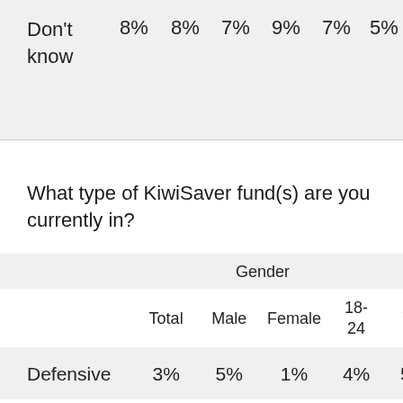|  | Total | Male | Female | 18-24 | 25-34 | 35-44 | 45-54 |
| --- | --- | --- | --- | --- | --- | --- | --- |
| Don't know | 8% | 8% | 7% | 9% | 7% | 5% | 10% | 8% |
What type of KiwiSaver fund(s) are you currently in?
|  | Total | Male | Female | 18-24 | 25-34 | 35-44 | 45-54 |
| --- | --- | --- | --- | --- | --- | --- | --- |
| Defensive | 3% | 5% | 1% | 4% | 5% | 3% | 1% |
| Conservative | 23% | 23% | 23% | 11% | 23% | 21% |  |